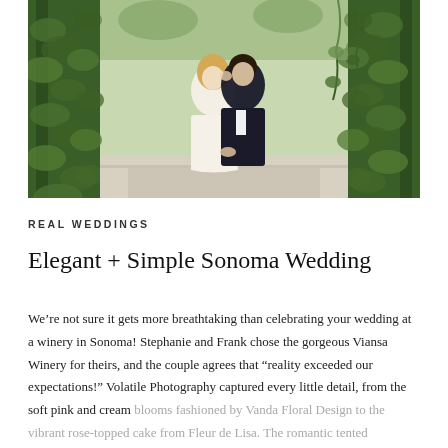[Figure (photo): A bride and groom kissing outdoors at a winery, surrounded by tall green ivy-covered columns or posts, holding hands, bride in white dress and groom in black tuxedo.]
REAL WEDDINGS
Elegant + Simple Sonoma Wedding
We’re not sure it gets more breathtaking than celebrating your wedding at a winery in Sonoma! Stephanie and Frank chose the gorgeous Viansa Winery for theirs, and the couple agrees that “reality exceeded our expectations!” Volatile Photography captured every little detail, from the soft pink and cream blooms fashioned by Vanda Floral Design to the vibrant rose-topped cake from Fleur de Lisa. The romantic tented reception area, with lots of pink, white and gold